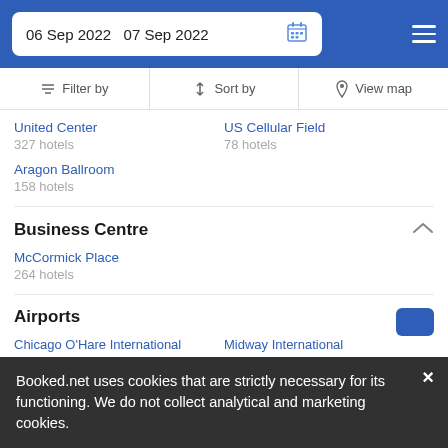06 Sep 2022  07 Sep 2022
Filter by  Sort by  View map
United Center
327 hotels
US Cellular Field
78 hotels
Aragon Ballroom
158 hotels
Business Centre
McCormick Place
264 hotels
Airports
Chicago O'Hare International
79 hotels
Midway International
41 hotels
Downtown Chicago
Chicago Loop
Booked.net uses cookies that are strictly necessary for its functioning. We do not collect analytical and marketing cookies.